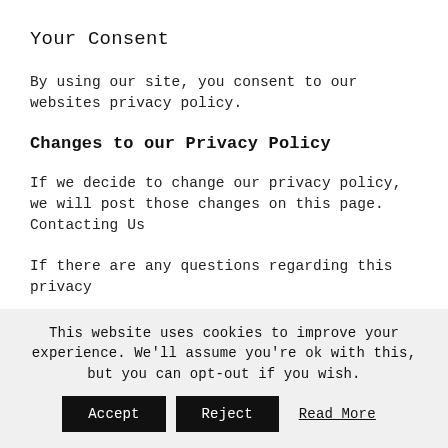Your Consent
By using our site, you consent to our websites privacy policy.
Changes to our Privacy Policy
If we decide to change our privacy policy, we will post those changes on this page.
Contacting Us
If there are any questions regarding this privacy
This website uses cookies to improve your experience. We'll assume you're ok with this, but you can opt-out if you wish.
Accept | Reject | Read More